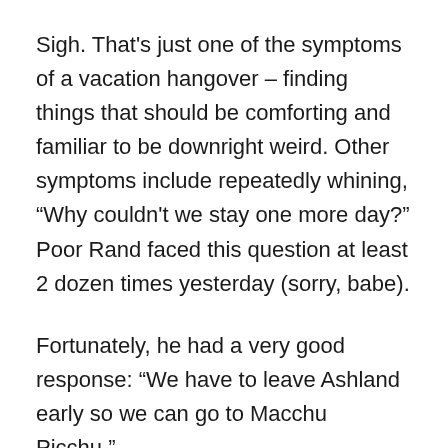Sigh. That's just one of the symptoms of a vacation hangover – finding things that should be comforting and familiar to be downright weird. Other symptoms include repeatedly whining, “Why couldn't we stay one more day?” Poor Rand faced this question at least 2 dozen times yesterday (sorry, babe).
Fortunately, he had a very good response: “We have to leave Ashland early so we can go to Macchu Picchu.”
That’s right: this spoiled brat is going to PERU. Nothing like a little hair of the dog to help you get